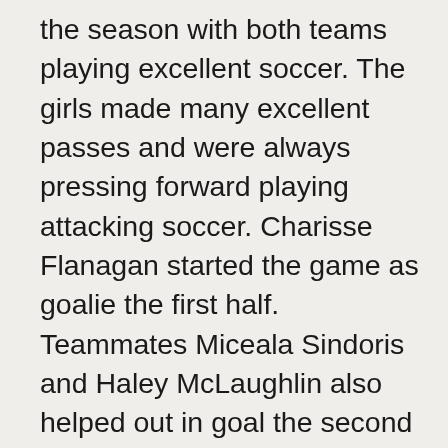the season with both teams playing excellent soccer. The girls made many excellent passes and were always pressing forward playing attacking soccer. Charisse Flanagan started the game as goalie the first half.  Teammates Miceala Sindoris and Haley McLaughlin also helped out in goal the second half. All contributed by deflecting goals preserving a tie game for Charlestown. The team was led by season MVP Jackie Gentis, who scored an excellent goal to take her tally to 10 for the season.  Jackie was eager to get her teammates involved with excellent crosses and through balls. Always ready to latch onto Jackie's passes were Flanagan, Sindoris and Kailey Kennedy-Slesar, who showed excellent pace and got behind the Wilimington defense several times only to be thwarted by the goalkeeper. Chloe Shea followed her shots and came close to scoring.  She dusted herself